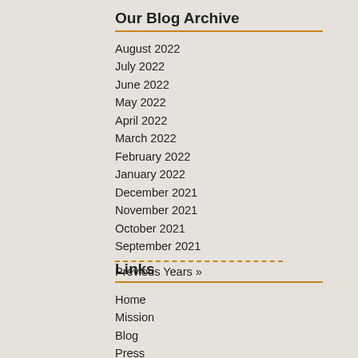Our Blog Archive
August 2022
July 2022
June 2022
May 2022
April 2022
March 2022
February 2022
January 2022
December 2021
November 2021
October 2021
September 2021
Previous Years »
Links
Home
Mission
Blog
Press
Join Us